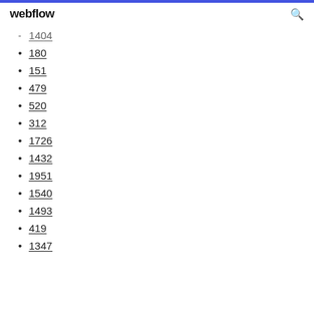webflow
1404
180
151
479
520
312
1726
1432
1951
1540
1493
419
1347